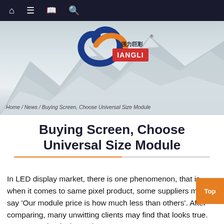Navigation bar with home, menu, bookmark, and search icons
[Figure (screenshot): Website hero banner with mountain background, Qiangli/JIANGLI LED company logo with orange and blue swoosh design and registered trademark symbol, breadcrumb navigation reading: Home / News / Buying Screen, Choose Universal Size Module]
Buying Screen, Choose Universal Size Module
In LED display market, there is one phenomenon, that is when it comes to same pixel product, some suppliers may say ‘Our module price is how much less than others’. After comparing, many unwitting clients may find that looks true. However, what is the truth?